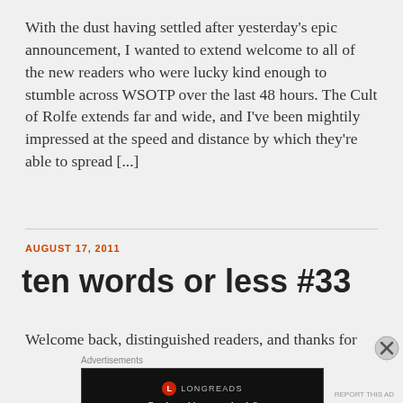With the dust having settled after yesterday's epic announcement, I wanted to extend welcome to all of the new readers who were lucky kind enough to stumble across WSOTP over the last 48 hours. The Cult of Rolfe extends far and wide, and I've been mightily impressed at the speed and distance by which they're able to spread [...]
AUGUST 17, 2011
ten words or less #33
Welcome back, distinguished readers, and thanks for
[Figure (other): Longreads advertisement banner with black background, Longreads logo (red circle with L), and text 'Read anything great lately?']